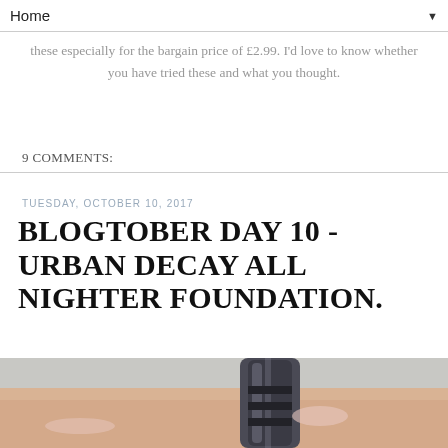Home
these especially for the bargain price of £2.99. I'd love to know whether you have tried these and what you thought.
9 COMMENTS:
TUESDAY, OCTOBER 10, 2017
BLOGTOBER DAY 10 - URBAN DECAY ALL NIGHTER FOUNDATION.
[Figure (photo): A hand holding a metallic Urban Decay All Nighter Foundation bottle against a light gray background.]